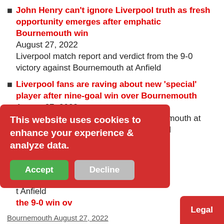John Henry can't ignore Liverpool truth as fresh opportunity emerges after emphatic Bournemouth win August 27, 2022 Liverpool match report and verdict from the 9-0 victory against Bournemouth at Anfield
Liverpool fans are raving about new 'special' player after nine-goal win over Bournemouth August 27, 2022 Liverpool claimed a 9-0 win over Bournemouth at Anfield to equal a Premier League record
[partially obscured] Roberto Firmino [question finally] [pool's emphatic 9-0] [t Anfield] [the 9-0 win ov]
Bournemouth August 27, 2022
This website uses cookies to enhance your experience & analyze data. [Accept] [Decline] [Legal]